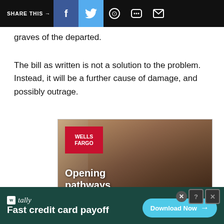SHARE THIS →  f  [twitter]  [whatsapp]  [message]  [email]
graves of the departed.
The bill as written is not a solution to the problem. Instead, it will be a further cause of damage, and possibly outrage.
[Figure (photo): Wells Fargo advertisement showing a mother and child looking at a tablet, with the Wells Fargo logo and text 'Opening pathways to banking']
[Figure (infographic): Tally app advertisement with dark green background, Tally logo, tagline 'Fast credit card payoff', and a 'Download Now' button]